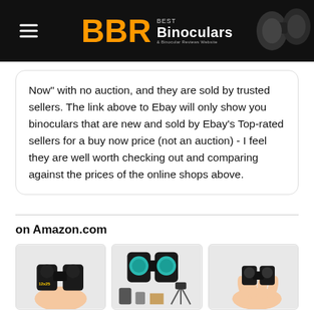BBR Best Binoculars & Binocular Reviews Website
Now" with no auction, and they are sold by trusted sellers. The link above to Ebay will only show you binoculars that are new and sold by Ebay's Top-rated sellers for a buy now price (not an auction) - I feel they are well worth checking out and comparing against the prices of the online shops above.
on Amazon.com
[Figure (photo): Three product photos of binoculars from Amazon.com: (1) compact binoculars held in a hand with yellow branding text, (2) full-size binoculars with teal lenses shown with accessories including a phone adapter and tripod, (3) small compact binoculars held in a hand.]